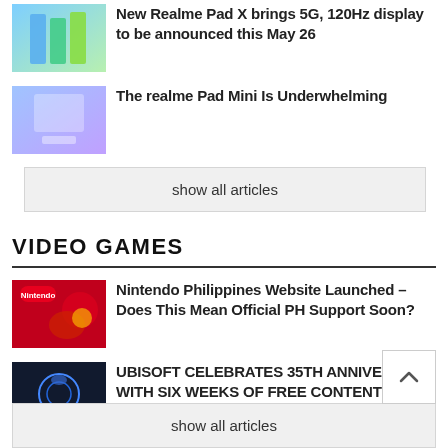New Realme Pad X brings 5G, 120Hz display to be announced this May 26
The realme Pad Mini Is Underwhelming
show all articles
VIDEO GAMES
Nintendo Philippines Website Launched – Does This Mean Official PH Support Soon?
UBISOFT CELEBRATES 35TH ANNIVERSARY WITH SIX WEEKS OF FREE CONTENT
Nevareth League 2021 ups the ante for MMORPG esports with a prize pool worth PHP 2M
show all articles